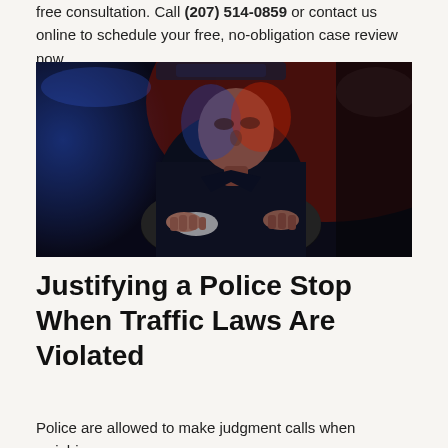free consultation. Call (207) 514-0859 or contact us online to schedule your free, no-obligation case review now.
[Figure (photo): A man sitting in a car at night, gripping the steering wheel with both hands, illuminated by blue and red police lights, suggesting a DUI traffic stop scenario.]
Justifying a Police Stop When Traffic Laws Are Violated
Police are allowed to make judgment calls when weighing